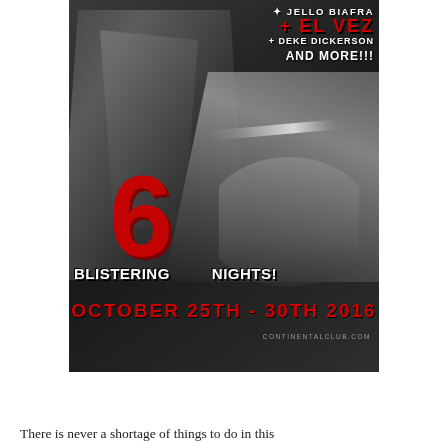[Figure (illustration): Concert/event promotional poster in black and white with red accents. Features performance photos of musicians. Text reads: JELLO BIAFRA + EL VEZ + DEKE DICKERSON AND MORE!!! 6 BLISTERING NIGHTS! OCTOBER 25TH - 30TH 2016 CONTINENTALCLUB.COM]
There is never a shortage of things to do in this